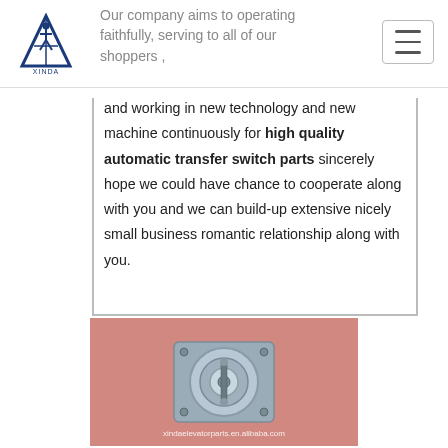[Figure (logo): Company logo - blue triangular/architectural symbol with text 'XINDA' below]
Our company aims to operating faithfully, serving to all of our shoppers, and working in new technology and new machine continuously for high quality automatic transfer switch parts sincerely hope we could have chance to cooperate along with you and we can build-up extensive nicely small business romantic relationship along with you.
[Figure (photo): Photo of a mechanical part (automatic transfer switch component) on a pink background with watermark xindaelevatorparts.en.alibaba.com]